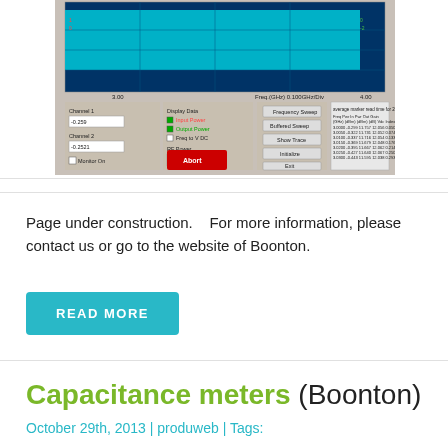[Figure (screenshot): Software screenshot showing a frequency sweep measurement interface with a graph displaying a flat cyan/teal waveform across 3.00 to 4.00 GHz, with control panels for Channel 1 (-0.259), Channel 2 (-0.2521), Display Data options (Input Power, Output Power, Freq to V DC), RF Power ON/OFF buttons, an Abort button in red, and a data table showing Freq(GHz), Pwr In (dBm), Pwr Out (dBm), Gain (dB), Vdc, Index columns with measurement readings.]
Page under construction.   For more information, please contact us or go to the website of Boonton.
READ MORE
Capacitance meters (Boonton)
October 29th, 2013 | produweb | Tags: